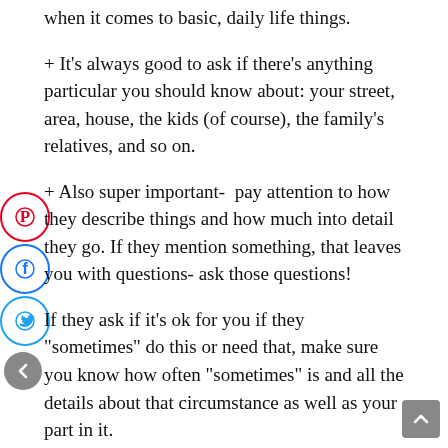when it comes to basic, daily life things.
+ It’s always good to ask if there’s anything particular you should know about: your street, area, house, the kids (of course), the family’s relatives, and so on.
+ Also super important-  pay attention to how they describe things and how much into detail they go. If they mention something, that leaves you with questions- ask those questions!
If they ask if it’s ok for you if they “sometimes” do this or need that, make sure you know how often “sometimes” is and all the details about that circumstance as well as your part in it.
Just to give you an example, if one of the host parents “sometimes” works for home, or they “sometimes” go on a date night and you’d watch the kids all night, or the grandparents “sometimes” come for a longer visit and